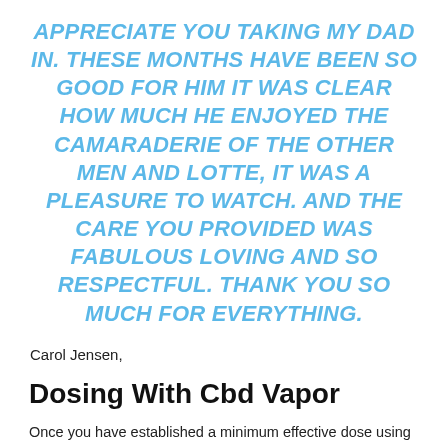APPRECIATE YOU TAKING MY DAD IN. THESE MONTHS HAVE BEEN SO GOOD FOR HIM IT WAS CLEAR HOW MUCH HE ENJOYED THE CAMARADERIE OF THE OTHER MEN AND LOTTE, IT WAS A PLEASURE TO WATCH. AND THE CARE YOU PROVIDED WAS FABULOUS LOVING AND SO RESPECTFUL. THANK YOU SO MUCH FOR EVERYTHING.
Carol Jensen,
Dosing With Cbd Vapor
Once you have established a minimum effective dose using